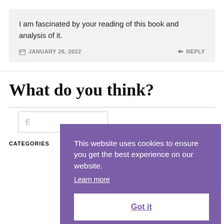I am fascinated by your reading of this book and analysis of it.
JANUARY 26, 2022   REPLY
What do you think?
CATEGORIES
This website uses cookies to ensure you get the best experience on our website. Learn more Got it